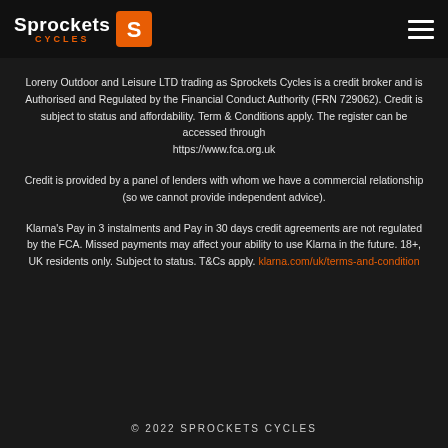Sprockets Cycles
Loreny Outdoor and Leisure LTD trading as Sprockets Cycles is a credit broker and is Authorised and Regulated by the Financial Conduct Authority (FRN 729062). Credit is subject to status and affordability. Term & Conditions apply. The register can be accessed through https://www.fca.org.uk
Credit is provided by a panel of lenders with whom we have a commercial relationship (so we cannot provide independent advice).
Klarna's Pay in 3 instalments and Pay in 30 days credit agreements are not regulated by the FCA. Missed payments may affect your ability to use Klarna in the future. 18+, UK residents only. Subject to status. T&Cs apply. klarna.com/uk/terms-and-condition
© 2022 SPROCKETS CYCLES